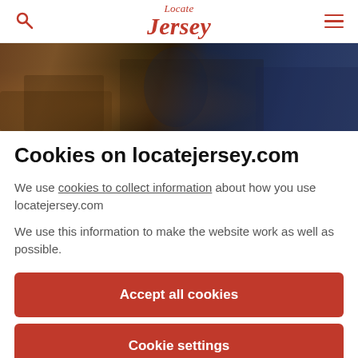Locate Jersey
[Figure (photo): A person in a dark suit seated at a wooden desk, partially visible from chest down, with hands clasped on the desk surface.]
Cookies on locatejersey.com
We use cookies to collect information about how you use locatejersey.com
We use this information to make the website work as well as possible.
Accept all cookies
Cookie settings